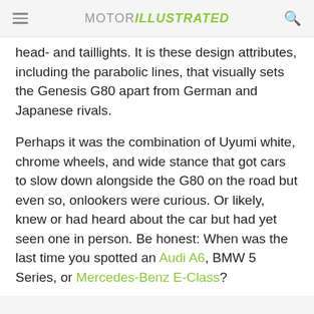MOTOR ILLUSTRATED
head- and taillights. It is these design attributes, including the parabolic lines, that visually sets the Genesis G80 apart from German and Japanese rivals.
Perhaps it was the combination of Uyumi white, chrome wheels, and wide stance that got cars to slow down alongside the G80 on the road but even so, onlookers were curious. Or likely, knew or had heard about the car but had yet seen one in person. Be honest: When was the last time you spotted an Audi A6, BMW 5 Series, or Mercedes-Benz E-Class?